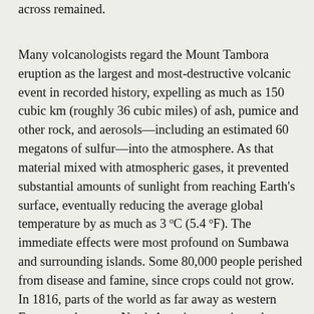across remained.
Many volcanologists regard the Mount Tambora eruption as the largest and most-destructive volcanic event in recorded history, expelling as much as 150 cubic km (roughly 36 cubic miles) of ash, pumice and other rock, and aerosols—including an estimated 60 megatons of sulfur—into the atmosphere. As that material mixed with atmospheric gases, it prevented substantial amounts of sunlight from reaching Earth's surface, eventually reducing the average global temperature by as much as 3 ºC (5.4 ºF). The immediate effects were most profound on Sumbawa and surrounding islands. Some 80,000 people perished from disease and famine, since crops could not grow. In 1816, parts of the world as far away as western Europe and eastern North America experienced sporadic periods of heavy snow and killing frost through June, July, and August. Such cold weather events led to crop failures and starvation in those